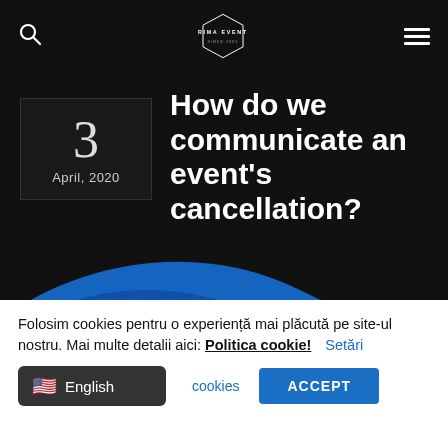TRIMA EVENTS
How do we communicate an event's cancellation?
3
April, 2020
Folosim cookies pentru o experiență mai plăcută pe site-ul nostru. Mai multe detalii aici: Politica cookie! Setări
cookies ACCEPT
English